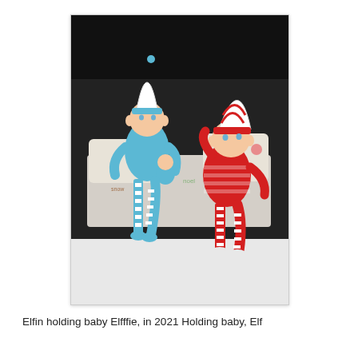[Figure (photo): Two elf dolls sitting on a small bed with Christmas-themed bedding. The left elf is dressed in blue with blue and white striped legs and a white pointed hat, holding a tiny baby elf doll. The right elf is dressed in red and white stripes with a red and white striped pointed hat. The bed has 'noel' and 'snow' text printed on the fabric.]
Elfin holding baby Elfffie, in 2021 Holding baby, Elf